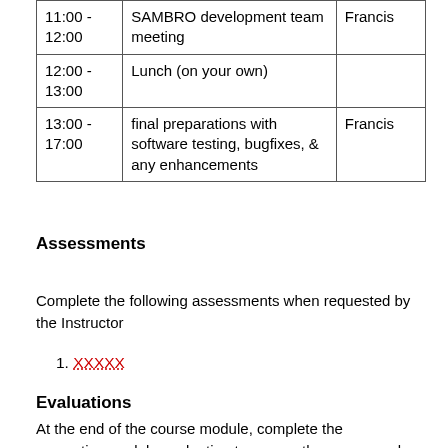| Time | Activity | Who |
| --- | --- | --- |
| 11:00 -
12:00 | SAMBRO development team meeting | Francis |
| 12:00 -
13:00 | Lunch (on your own) |  |
| 13:00 -
17:00 | final preparations with software testing, bugfixes, & any enhancements | Francis |
Assessments
Complete the following assessments when requested by the Instructor
1. XXXXX
Evaluations
At the end of the course module, complete the respective module evaluation to assess the course and the Instructor